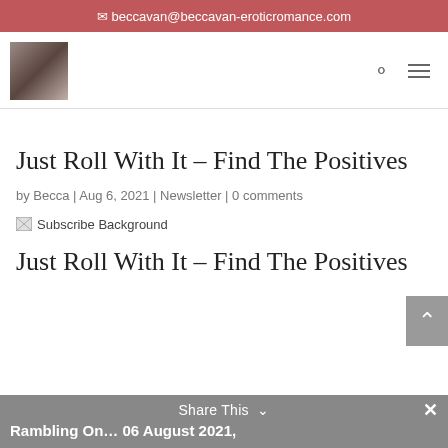✉ beccavan@beccavan-eroticromance.com
[Figure (logo): Dark brownish square logo placeholder for the website]
Just Roll With It – Find The Positives
by Becca | Aug 6, 2021 | Newsletter | 0 comments
[Figure (photo): Broken image placeholder: Subscribe Background]
Just Roll With It – Find The Positives
Share This ∨  ✕  Rambling On… 06 August 2021,